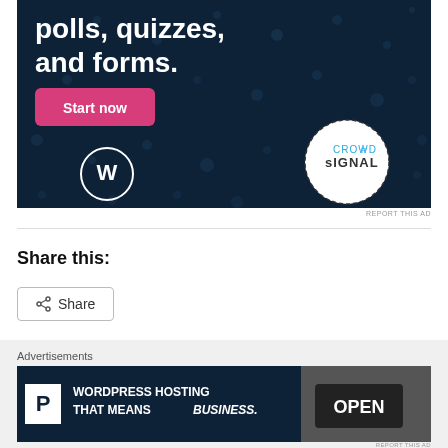[Figure (screenshot): CrowdSignal advertisement banner on dark navy background with text 'polls, quizzes, and forms.' with a pink 'Start now' button, WordPress logo bottom-left, and CrowdSignal circular logo bottom-right]
REPORT THIS AD
Share this:
Share
Loading...
Advertisements
[Figure (screenshot): WordPress hosting advertisement banner with dark navy background, white P logo, text 'WORDPRESS HOSTING THAT MEANS BUSINESS.' and photo of OPEN sign on right]